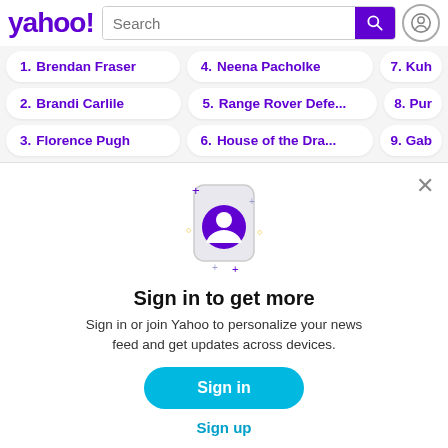[Figure (screenshot): Yahoo logo with purple text and exclamation mark]
1. Brendan Fraser
4. Neena Pacholke
7. Kuh...
2. Brandi Carlile
5. Range Rover Defe...
8. Pur...
3. Florence Pugh
6. House of the Dra...
9. Gab...
Sign in to get more
Sign in or join Yahoo to personalize your news feed and get updates across devices.
Sign in
Sign up